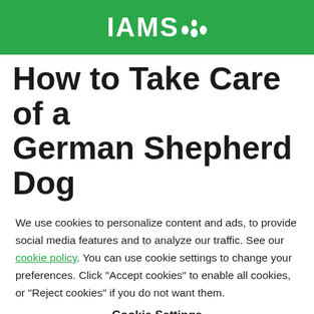IAMS
How to Take Care of a German Shepherd Dog
We use cookies to personalize content and ads, to provide social media features and to analyze our traffic. See our cookie policy. You can use cookie settings to change your preferences. Click "Accept cookies" to enable all cookies, or "Reject cookies" if you do not want them.
Cookie Settings
Reject Cookies
Accept Cookies